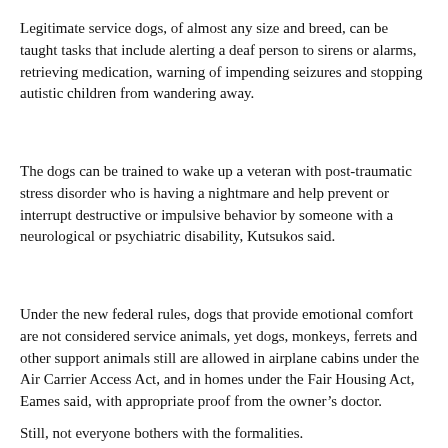Legitimate service dogs, of almost any size and breed, can be taught tasks that include alerting a deaf person to sirens or alarms, retrieving medication, warning of impending seizures and stopping autistic children from wandering away.
The dogs can be trained to wake up a veteran with post-traumatic stress disorder who is having a nightmare and help prevent or interrupt destructive or impulsive behavior by someone with a neurological or psychiatric disability, Kutsukos said.
Under the new federal rules, dogs that provide emotional comfort are not considered service animals, yet dogs, monkeys, ferrets and other support animals still are allowed in airplane cabins under the Air Carrier Access Act, and in homes under the Fair Housing Act, Eames said, with appropriate proof from the owner’s doctor.
Still, not everyone bothers with the formalities.
“People come up to me all the time and ask, ‘Where do I get one of